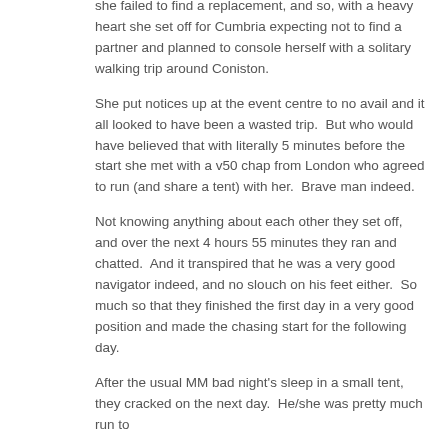she failed to find a replacement, and so, with a heavy heart she set off for Cumbria expecting not to find a partner and planned to console herself with a solitary walking trip around Coniston.
She put notices up at the event centre to no avail and it all looked to have been a wasted trip.  But who would have believed that with literally 5 minutes before the start she met with a v50 chap from London who agreed to run (and share a tent) with her.  Brave man indeed.
Not knowing anything about each other they set off, and over the next 4 hours 55 minutes they ran and chatted.  And it transpired that he was a very good navigator indeed, and no slouch on his feet either.  So much so that they finished the first day in a very good position and made the chasing start for the following day.
After the usual MM bad night's sleep in a small tent, they cracked on the next day.  He/she was pretty much run to